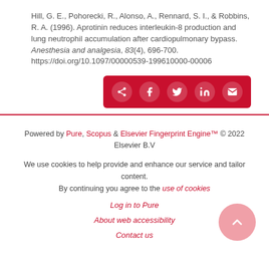Hill, G. E., Pohorecki, R., Alonso, A., Rennard, S. I., & Robbins, R. A. (1996). Aprotinin reduces interleukin-8 production and lung neutrophil accumulation after cardiopulmonary bypass. Anesthesia and analgesia, 83(4), 696-700. https://doi.org/10.1097/00000539-199610000-00006
[Figure (other): Social share button group with icons for share, Facebook, Twitter, LinkedIn, and email on a red background]
Powered by Pure, Scopus & Elsevier Fingerprint Engine™ © 2022 Elsevier B.V

We use cookies to help provide and enhance our service and tailor content. By continuing you agree to the use of cookies

Log in to Pure

About web accessibility

Contact us